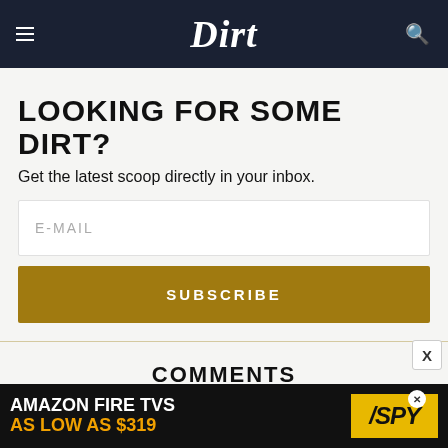Dirt
LOOKING FOR SOME DIRT?
Get the latest scoop directly in your inbox.
E-MAIL
SUBSCRIBE
COMMENTS
[Figure (other): Advertisement banner: AMAZON FIRE TVS AS LOW AS $319, SPY logo]